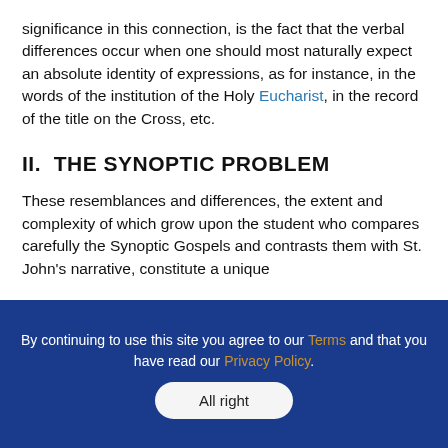significance in this connection, is the fact that the verbal differences occur when one should most naturally expect an absolute identity of expressions, as for instance, in the words of the institution of the Holy Eucharist, in the record of the title on the Cross, etc.
II.  THE SYNOPTIC PROBLEM
These resemblances and differences, the extent and complexity of which grow upon the student who compares carefully the Synoptic Gospels and contrasts them with St. John's narrative, constitute a unique
By continuing to use this site you agree to our Terms and that you have read our Privacy Policy.
All right